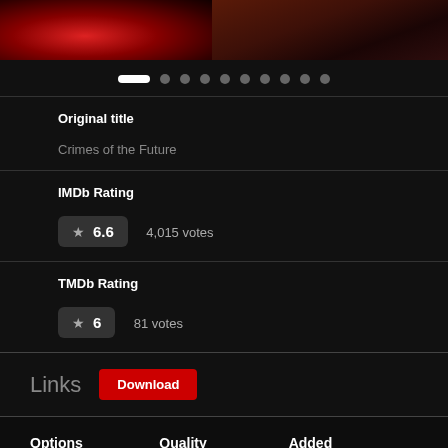[Figure (photo): Movie banner image with dark red tones, showing two image panels side by side — left with red sparkles/bokeh, right with darker reddish-brown tones]
[Figure (infographic): Carousel navigation dots — one white active pill followed by 9 grey circular inactive dots]
Original title
Crimes of the Future
IMDb Rating
6.6  4,015 votes
TMDb Rating
6  81 votes
Links  Download
Options  Quality  Added